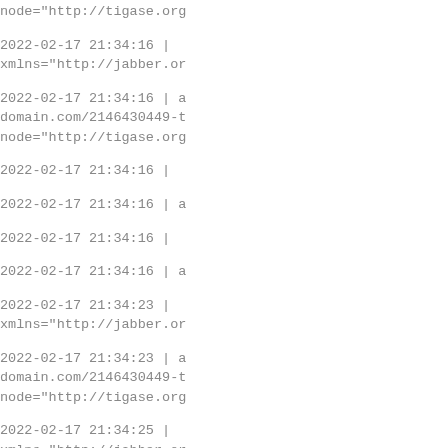node="http://tigase.org
2022-02-17 21:34:16 |
xmlns="http://jabber.or
2022-02-17 21:34:16 | a
domain.com/2146430449-t
node="http://tigase.org
2022-02-17 21:34:16 |
2022-02-17 21:34:16 | a
2022-02-17 21:34:16 |
2022-02-17 21:34:16 | a
2022-02-17 21:34:23 |
xmlns="http://jabber.or
2022-02-17 21:34:23 | a
domain.com/2146430449-t
node="http://tigase.org
2022-02-17 21:34:25 |
xmlns="http://jabber.or